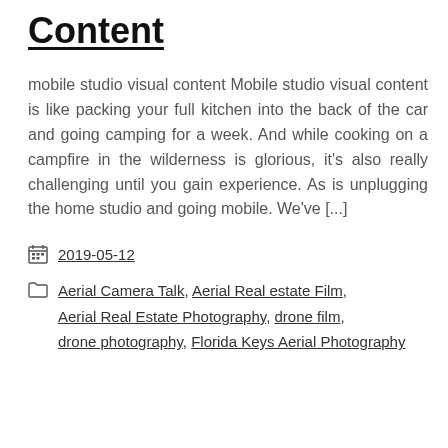Content
mobile studio visual content Mobile studio visual content is like packing your full kitchen into the back of the car and going camping for a week. And while cooking on a campfire in the wilderness is glorious, it’s also really challenging until you gain experience. As is unplugging the home studio and going mobile. We’ve [...]
2019-05-12
Aerial Camera Talk, Aerial Real estate Film, Aerial Real Estate Photography, drone film, drone photography, Florida Keys Aerial Photography